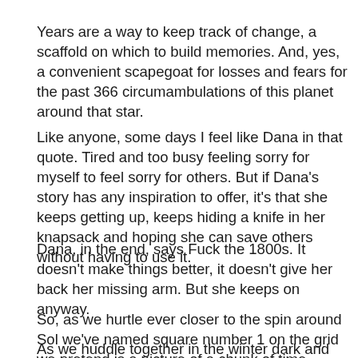Years are a way to keep track of change, a scaffold on which to build memories. And, yes, a convenient scapegoat for losses and fears for the past 366 circumambulations of this planet around that star.
Like anyone, some days I feel like Dana in that quote. Tired and too busy feeling sorry for myself to feel sorry for others. But if Dana's story has any inspiration to offer, it's that she keeps getting up, keeps hiding a knife in her knapsack and hoping she can save others without having to use it.
Dana, in the end, says Fuck the 1800s. It doesn't make things better, it doesn't give her back her missing arm. But she keeps on anyway.
So, as we hurtle ever closer to the spin around Sol we've named square number 1 on the grid we pretend is a picture of a chunk of time called January…
As we huddle together in the winter dark and make plans, keep…